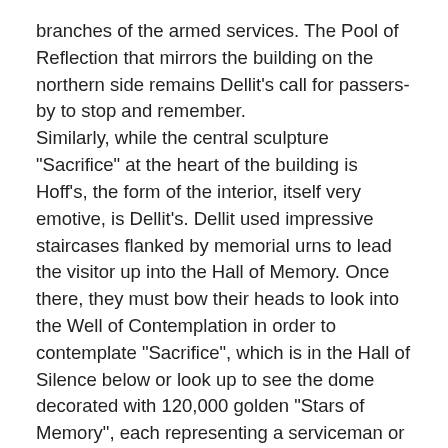branches of the armed services. The Pool of Reflection that mirrors the building on the northern side remains Dellit's call for passers-by to stop and remember.
Similarly, while the central sculpture "Sacrifice" at the heart of the building is Hoff's, the form of the interior, itself very emotive, is Dellit's. Dellit used impressive staircases flanked by memorial urns to lead the visitor up into the Hall of Memory. Once there, they must bow their heads to look into the Well of Contemplation in order to contemplate "Sacrifice", which is in the Hall of Silence below or look up to see the dome decorated with 120,000 golden "Stars of Memory", each representing a serviceman or woman from NSW. Dellit's architecture and Hoff's sculptures greatly enhance each other to provide an artistically integrated emotional message.
According to Maisy Stapleton, the greatest exponents of